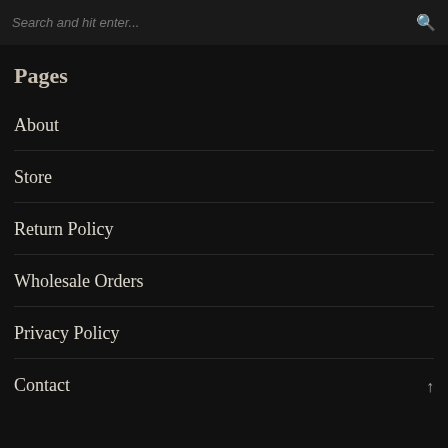Search and hit enter...
Pages
About
Store
Return Policy
Wholesale Orders
Privacy Policy
Contact